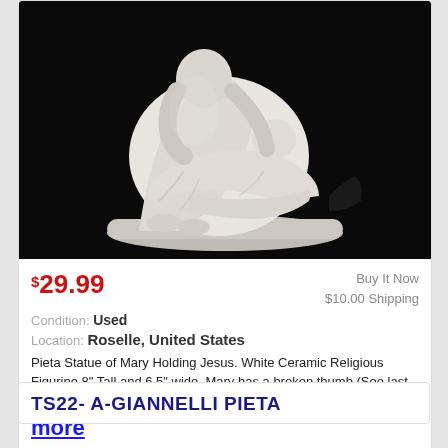[Figure (photo): White ceramic Pieta statue of Mary holding Jesus, photographed against a black background. The figurine shows detailed sculpting of two figures on a rectangular base.]
$29.99
Buy It Now
$10.00 Shipping
Condition: Used
Location: Roselle, United States
Pieta Statue of Mary Holding Jesus. White Ceramic Religious Figurine 8" Tall and 6.5" wide. Mary has a broken thumb (See last photo). Rest of Figure is ...
more
TS22- A-GIANNELLI PIETA